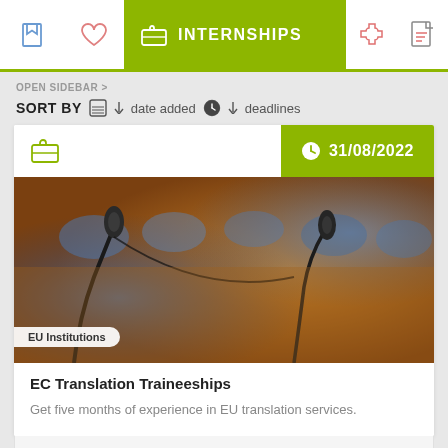INTERNSHIPS
OPEN SIDEBAR >
SORT BY  date added  deadlines
[Figure (photo): Conference room with microphones in the foreground, blurred background showing blue chairs and orange/brown interior. Tagged with 'EU Institutions' label. Date badge shows 31/08/2022.]
EC Translation Traineeships
Get five months of experience in EU translation services.
Read this in 2 languages  eu ▼